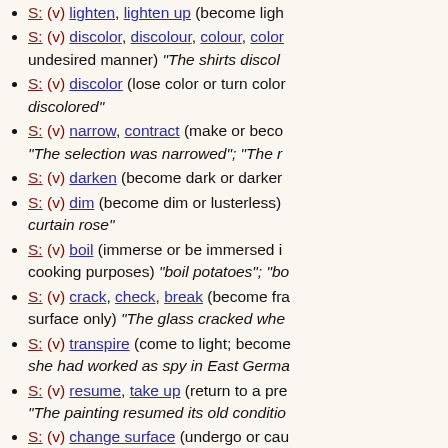S: (v) lighten, lighten up (become ligh...)
S: (v) discolor, discolour, colour, color... undesired manner) "The shirts discol..."
S: (v) discolor (lose color or turn color... discolored"
S: (v) narrow, contract (make or beco... "The selection was narrowed"; "The r..."
S: (v) darken (become dark or darker...)
S: (v) dim (become dim or lusterless)... curtain rose"
S: (v) boil (immerse or be immersed i... cooking purposes) "boil potatoes"; "bo..."
S: (v) crack, check, break (become fra... surface only) "The glass cracked whe..."
S: (v) transpire (come to light; become... she had worked as spy in East Germa..."
S: (v) resume, take up (return to a pre... "The painting resumed its old conditio..."
S: (v) change surface (undergo or cau... the surface)
S: (v) sublime, sublimate (vaporize an... again)
S: (v) cool, cool off, cool down (lose i... cooled considerably"
S: (v) warm up (become more friendly...)